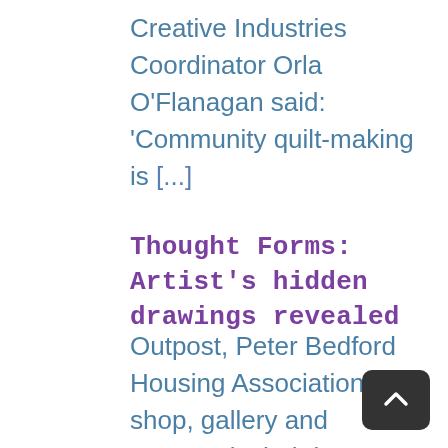Creative Industries Coordinator Orla O'Flanagan said: 'Community quilt-making is [...]
Thought Forms: Artist's hidden drawings revealed
Outpost, Peter Bedford Housing Association's shop, gallery and community hub is delighted to host Thought Forms, an exhibition of works by multi-media art producer and PBHA tenant CECIL Nurse, from